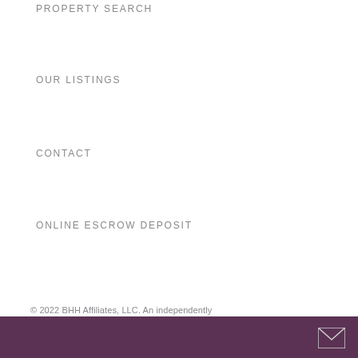PROPERTY SEARCH
OUR LISTINGS
CONTACT
ONLINE ESCROW DEPOSIT
© 2022 BHH Affiliates, LLC. An independently